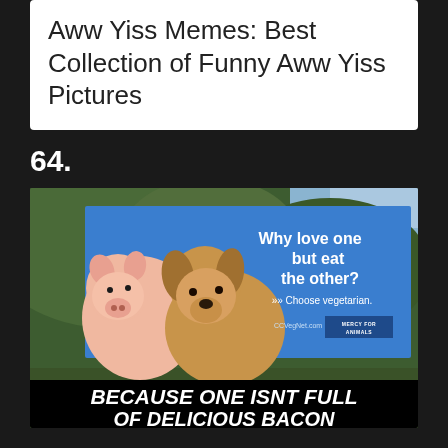Aww Yiss Memes: Best Collection of Funny Aww Yiss Pictures
64.
[Figure (photo): Photo of a billboard showing a pig and a puppy dog side by side on a blue billboard that reads 'Why love one but eat the other? Choose vegetarian. CCVegNet.com MERCY FOR ANIMALS'. Below the billboard photo is a large text caption in bold italic white on black: 'BECAUSE ONE ISNT FULL OF DELICIOUS BACON']